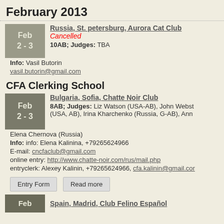February 2013
Russia, St. petersburg, Aurora Cat Club
Cancelled
10AB; Judges: TBA
Info: Vasil Butorin
vasil.butorin@gmail.com
CFA Clerking School
Bulgaria, Sofia, Chatte Noir Club
8AB; Judges: Liz Watson (USA-AB), John Webst (USA, AB), Irina Kharchenko (Russia, G-AB), Ann Elena Chernova (Russia)
Info: info: Elena Kalinina, +79265624966
E-mail: cncfaclub@gmail.com
online entry: http://www.chatte-noir.com/rus/mail.php
entryclerk: Alexey Kalinin, +79265624966, cfa.kalinin@gmail.com
Entry Form   Read more
Spain, Madrid, Club Felino Español